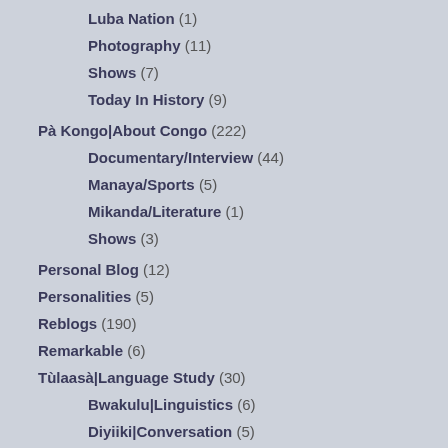Luba Nation (1)
Photography (11)
Shows (7)
Today In History (9)
Pà Kongo|About Congo (222)
Documentary/Interview (44)
Manaya/Sports (5)
Mikanda/Literature (1)
Shows (3)
Personal Blog (12)
Personalities (5)
Reblogs (190)
Remarkable (6)
Tùlaasà|Language Study (30)
Bwakulu|Linguistics (6)
Diyiiki|Conversation (5)
Myakù |Vocabulary (8)
Myandà | Conjugation (6)